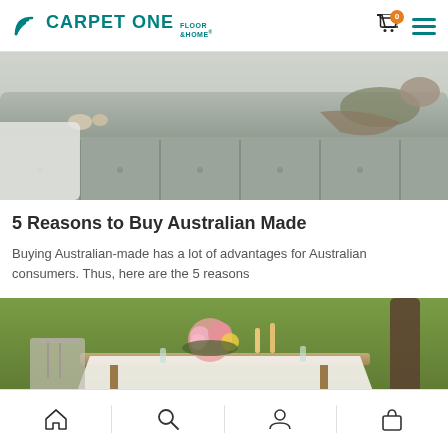CARPET ONE FLOOR & HOME
[Figure (photo): Person lying on a tufted grey-green sofa with a dog, wrapped in a blanket]
5 Reasons to Buy Australian Made
Buying Australian-made has a lot of advantages for Australian consumers. Thus, here are the 5 reasons
[Figure (photo): Outdoor dining table set with floral arrangement, candles, glassware and food on a white tablecloth on grass]
Home | Search | Account | Bag